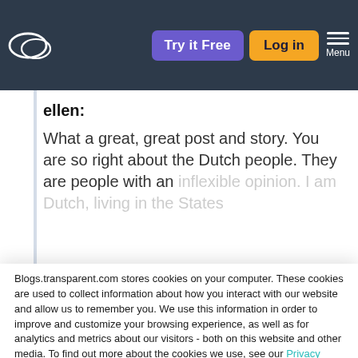Try it Free | Log in | Menu
ellen:
What a great, great post and story. You are so right about the Dutch people. They are people with an inflexible opinion. I am Dutch, living in the States
Blogs.transparent.com stores cookies on your computer. These cookies are used to collect information about how you interact with our website and allow us to remember you. We use this information in order to improve and customize your browsing experience, as well as for analytics and metrics about our visitors - both on this website and other media. To find out more about the cookies we use, see our Privacy Policy.

If you decline, your information won't be tracked when you visit this website. A single cookie will be used in your browser to remember your preference not to be tracked.
Accept
Decline